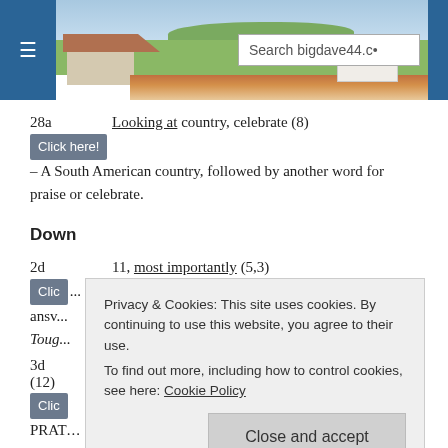[Figure (screenshot): Website header for bigdave44.com with hamburger menu, landscape photo, and search box]
28a   Looking at country, celebrate (8)
Click here! – A South American country, followed by another word for praise or celebrate.
Down
2d   11, most importantly (5,3)
Click here! ... the answer ... day's Tough
3d    pper (12)
Click here! ... and PRATELY
Privacy & Cookies: This site uses cookies. By continuing to use this website, you agree to their use. To find out more, including how to control cookies, see here: Cookie Policy
Close and accept
4d   Operated in a cross-wise direction (8)